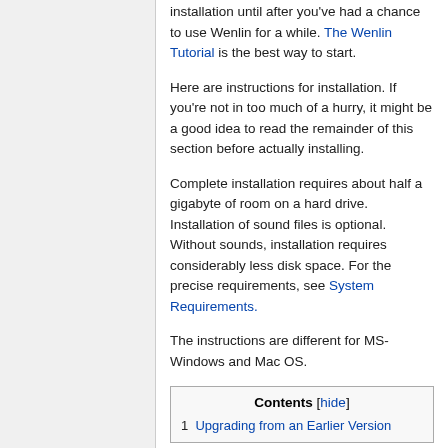installation until after you've had a chance to use Wenlin for a while. The Wenlin Tutorial is the best way to start.
Here are instructions for installation. If you're not in too much of a hurry, it might be a good idea to read the remainder of this section before actually installing.
Complete installation requires about half a gigabyte of room on a hard drive. Installation of sound files is optional. Without sounds, installation requires considerably less disk space. For the precise requirements, see System Requirements.
The instructions are different for MS-Windows and Mac OS.
| Contents [hide] |
| --- |
| 1  Upgrading from an Earlier Version |